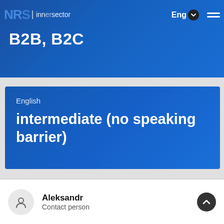[Figure (screenshot): Navigation bar with NRB logo, 'Innersector' text link, 'Eng' language selector with dropdown chevron, and hamburger menu icon]
B2B, B2C
English
intermediate (no speaking barrier)
Aleksandr
Contact person